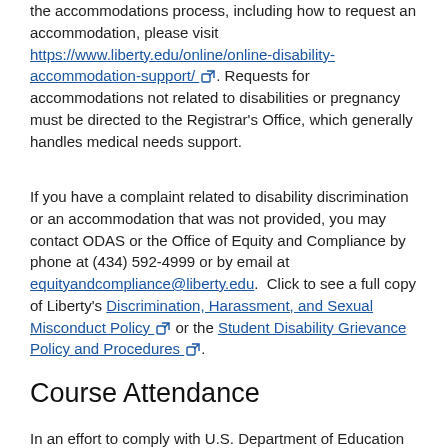the accommodations process, including how to request an accommodation, please visit https://www.liberty.edu/online/online-disability-accommodation-support/. Requests for accommodations not related to disabilities or pregnancy must be directed to the Registrar's Office, which generally handles medical needs support.
If you have a complaint related to disability discrimination or an accommodation that was not provided, you may contact ODAS or the Office of Equity and Compliance by phone at (434) 592-4999 or by email at equityandcompliance@liberty.edu. Click to see a full copy of Liberty's Discrimination, Harassment, and Sexual Misconduct Policy or the Student Disability Grievance Policy and Procedures.
Course Attendance
In an effort to comply with U.S. Department of Education